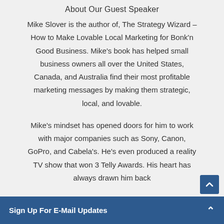About Our Guest Speaker
Mike Slover is the author of, The Strategy Wizard – How to Make Lovable Local Marketing for Bonk'n Good Business. Mike's book has helped small business owners all over the United States, Canada, and Australia find their most profitable marketing messages by making them strategic, local, and lovable.
Mike's mindset has opened doors for him to work with major companies such as Sony, Canon, GoPro, and Cabela's. He's even produced a reality TV show that won 3 Telly Awards. His heart has always drawn him back
Sign Up For E-Mail Updates